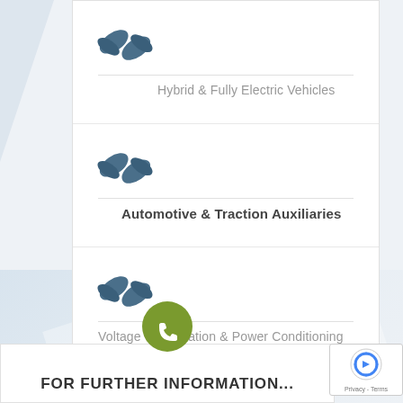[Figure (logo): Small dark blue propeller/fan icon for Hybrid & Fully Electric Vehicles row]
Hybrid & Fully Electric Vehicles
[Figure (logo): Small dark blue propeller/fan icon for Automotive & Traction Auxiliaries row]
Automotive & Traction Auxiliaries
[Figure (logo): Small dark blue propeller/fan icon for Voltage Optimisation & Power Conditioning row]
Voltage Optimisation & Power Conditioning
[Figure (illustration): Green circle with white phone handset icon]
FOR FURTHER INFORMATION...